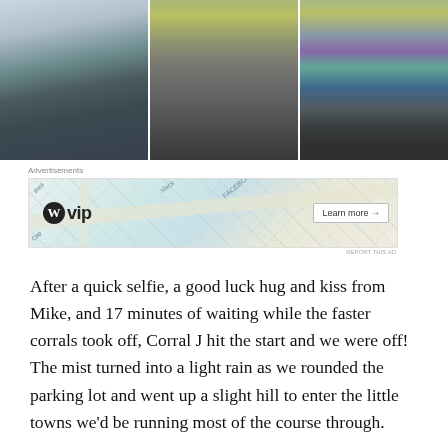[Figure (photo): Three race day photos: left shows a woman in a white cap and gray jacket taking a selfie at a crowded race start; center shows a large crowd of runners at the race start area with trees in background; right shows runners near a fence/barrier at the start of a race with trees in background.]
Advertisements
[Figure (screenshot): WordPress VIP advertisement banner with a map background showing street labels (third, Cap, slack, FACEBOOK), WordPress circle logo with 'vip' text, and a 'Learn more →' button on the right side. 'REPORT THIS AD' text below.]
After a quick selfie, a good luck hug and kiss from Mike, and 17 minutes of waiting while the faster corrals took off, Corral J hit the start and we were off! The mist turned into a light rain as we rounded the parking lot and went up a slight hill to enter the little towns we'd be running most of the course through.